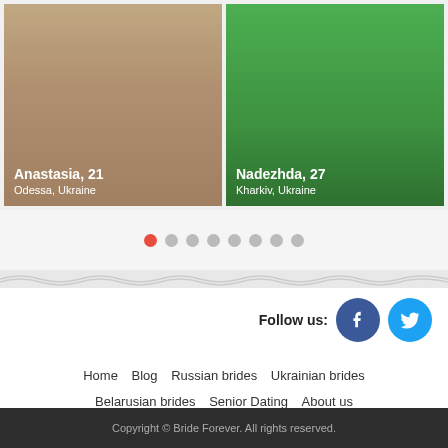[Figure (photo): Photo card of Anastasia, 21, from Odessa, Ukraine]
[Figure (photo): Photo card of Nadezhda, 27, from Kharkiv, Ukraine]
[Figure (infographic): Carousel dot indicators, 8 dots total, first dot active (red)]
Follow us:
[Figure (logo): Facebook social icon button (blue circle with f)]
[Figure (logo): Twitter social icon button (blue circle with bird)]
Home   Blog   Russian brides   Ukrainian brides   Belarusian brides   Senior Dating   About us   Terms and Conditions   Contact us   Privacy Policy   FAQ
Copyright © Bride Forever. All rights reserved.